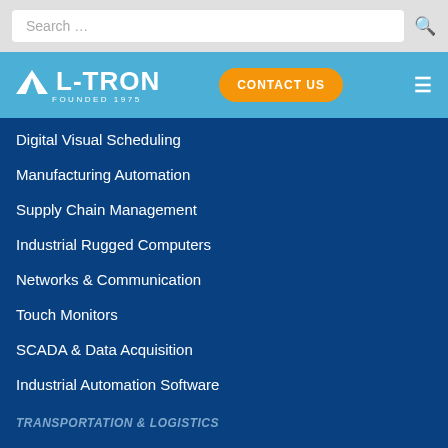Search …
[Figure (logo): L-TRON logo with mountain icon, FOUNDED 1975, on blue background with CONTACT US orange button and hamburger menu]
Digital Visual Scheduling
Manufacturing Automation
Supply Chain Management
Industrial Rugged Computers
Networks & Communication
Touch Monitors
SCADA & Data Acquisition
Industrial Automation Software
TRANSPORTATION & LOGISTICS
Warehousing & Distribution
Track & Trace
Inventory Management